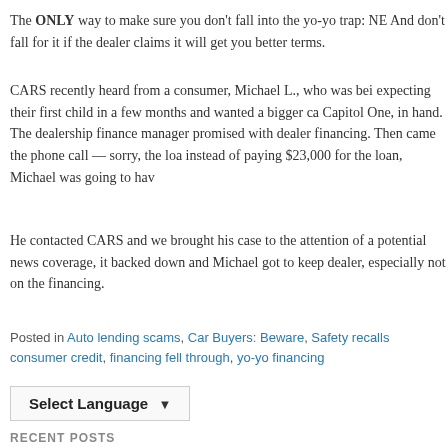The ONLY way to make sure you don't fall into the yo-yo trap: NE And don't fall for it if the dealer claims it will get you better terms.
CARS recently heard from a consumer, Michael L., who was bei expecting their first child in a few months and wanted a bigger ca Capitol One, in hand.  The dealership finance manager promised with dealer financing. Then came the phone call — sorry, the loa instead of paying $23,000 for the loan, Michael was going to hav
He contacted CARS and we brought his case to the attention of a potential news coverage, it backed down and Michael got to keep dealer, especially not on the financing.
Posted in Auto lending scams, Car Buyers: Beware, Safety recalls consumer credit, financing fell through, yo-yo financing
[Figure (other): Select Language dropdown widget]
RECENT POSTS